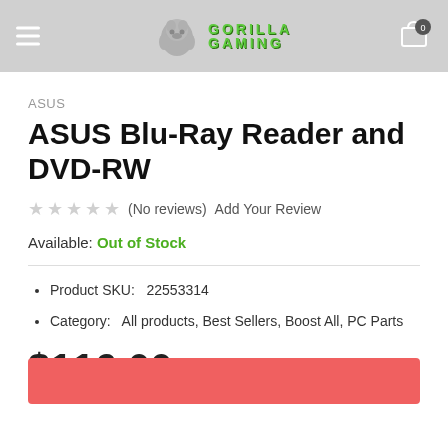GORILLA GAMING
ASUS
ASUS Blu-Ray Reader and DVD-RW
☆☆☆☆☆ (No reviews) Add Your Review
Available: Out of Stock
Product SKU:   22553314
Category:   All products, Best Sellers, Boost All, PC Parts
$116.00